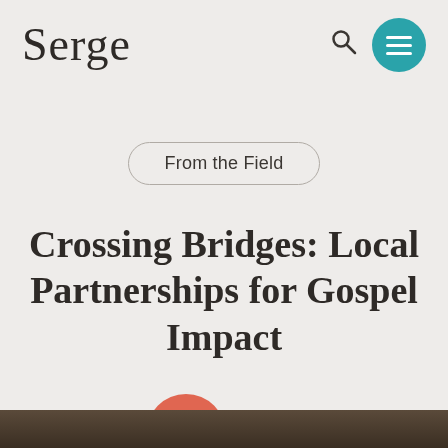Serge
From the Field
Crossing Bridges: Local Partnerships for Gospel Impact
Serge